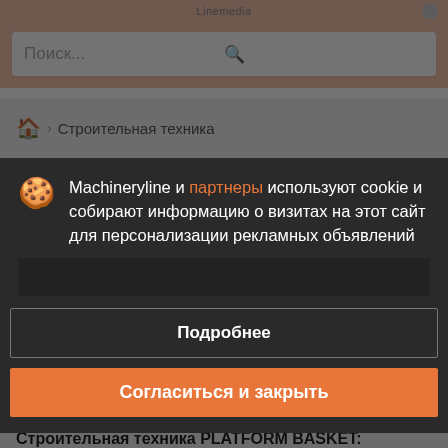Linemedia
Поиск...
Строительная техника
Строительная техника PLATFORM BASKET
Machineryline и партнеры используют cookie и собирают информацию о визитах на этот сайт для персонализации рекламных объявлений
Подробнее
Согласиться и закрыть
Строительная техника PLATFORM BASKET: